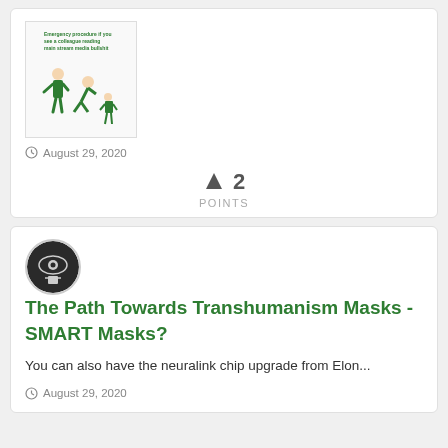[Figure (illustration): Small illustration showing figures with text 'Emergency procedure if you see a colleague reading main stream media bullshit']
August 29, 2020
↑ 2 POINTS
[Figure (illustration): Circular avatar with eye/face illustration in black and white]
The Path Towards Transhumanism Masks - SMART Masks?
You can also have the neuralink chip upgrade from Elon...
August 29, 2020